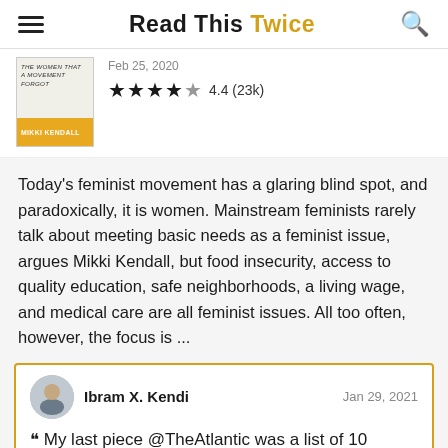Read This Twice
[Figure (illustration): Book cover: The Women That A Movement Forgot by Mikki Kendall, with yellow/gold bottom band]
Feb 25, 2020
★★★★½  4.4 (23k)
Today's feminist movement has a glaring blind spot, and paradoxically, it is women. Mainstream feminists rarely talk about meeting basic needs as a feminist issue, argues Mikki Kendall, but food insecurity, access to quality education, safe neighborhoods, a living wage, and medical care are all feminist issues. All too often, however, the focus is ...
Ibram X. Kendi  Jan 29, 2021
“ My last piece @TheAtlantic was a list of 10 notable political books by Black women